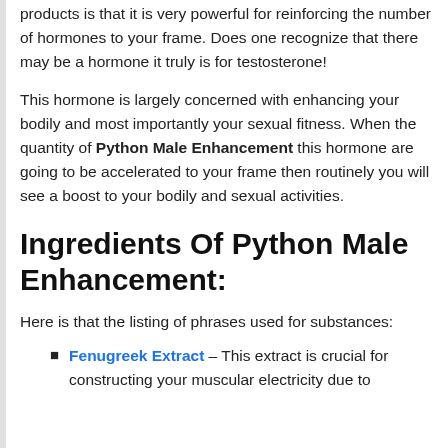products is that it is very powerful for reinforcing the number of hormones to your frame. Does one recognize that there may be a hormone it truly is for testosterone!
This hormone is largely concerned with enhancing your bodily and most importantly your sexual fitness. When the quantity of Python Male Enhancement this hormone are going to be accelerated to your frame then routinely you will see a boost to your bodily and sexual activities.
Ingredients Of Python Male Enhancement:
Here is that the listing of phrases used for substances:
Fenugreek Extract – This extract is crucial for constructing your muscular electricity due to